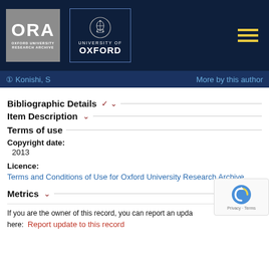[Figure (logo): ORA Oxford University Research Archive logo and University of Oxford crest logo on dark navy background with hamburger menu icon]
Konishi, S   More by this author
Bibliographic Details
Item Description
Terms of use
Copyright date:
2013
Licence:
Terms and Conditions of Use for Oxford University Research Archive
Metrics
If you are the owner of this record, you can report an upda...
here:  Report update to this record